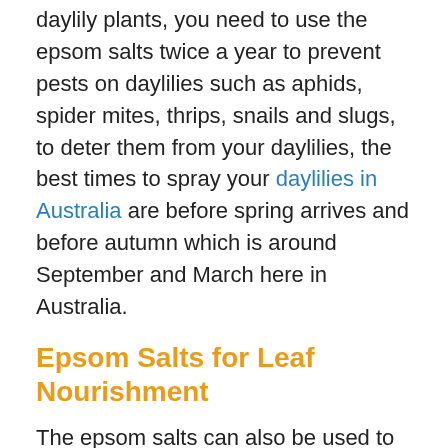… essential minerals to achieve the best results for daylily plants, you need to use the epsom salts twice a year to prevent pests on daylilies such as aphids, spider mites, thrips, snails and slugs, to deter them from your daylilies, the best times to spray your daylilies in Australia are before spring arrives and before autumn which is around September and March here in Australia.
Epsom Salts for Leaf Nourishment
The epsom salts can also be used to keep your daylilies, especially their leaves, in their rich green colour. This means that epsom salts can truly keep your daylilies healthy. The combination of Magnesium and Sulphate can be very helpful in preventing the leaves from any kind of discolouration that will make them unhealthy. Magnesium is a very essential substance in